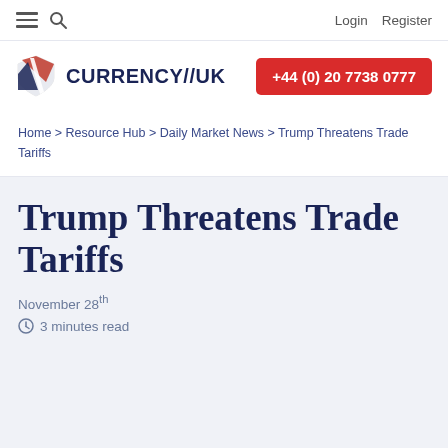☰ 🔍   Login  Register
[Figure (logo): Currency//UK logo with red/blue shield icon and dark blue CURRENCY//UK text]
+44 (0) 20 7738 0777
Home > Resource Hub > Daily Market News > Trump Threatens Trade Tariffs
Trump Threatens Trade Tariffs
November 28th
🕐 3 minutes read